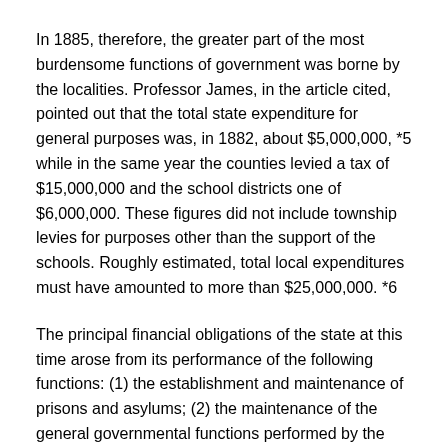In 1885, therefore, the greater part of the most burdensome functions of government was borne by the localities. Professor James, in the article cited, pointed out that the total state expenditure for general purposes was, in 1882, about $5,000,000, *5 while in the same year the counties levied a tax of $15,000,000 and the school districts one of $6,000,000. These figures did not include township levies for purposes other than the support of the schools. Roughly estimated, total local expenditures must have amounted to more than $25,000,000. *6
The principal financial obligations of the state at this time arose from its performance of the following functions: (1) the establishment and maintenance of prisons and asylums; (2) the maintenance of the general governmental functions performed by the governor, the legislature, the auditor general, etc.; (3) the administration of justice; (4) the military.
Since 1885 the tendency has been for the state to take over certain services performed by the localities. Thus the recent reports of the Auditor General show large expenditures for state hospitals for injured miners, for state dispensaries and sanitoria, for uniform primary elections, for the state police system, and for the construction and